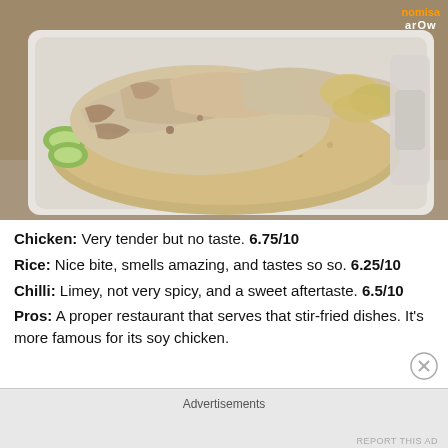[Figure (photo): Hainanese chicken rice in a white styrofoam takeaway container, showing sliced poached chicken pieces on top of oily rice, with cucumber slices visible, close-up food photo]
Chicken: Very tender but no taste. 6.75/10
Rice: Nice bite, smells amazing, and tastes so so. 6.25/10
Chilli: Limey, not very spicy, and a sweet aftertaste. 6.5/10
Pros: A proper restaurant that serves that stir-fried dishes. It's more famous for its soy chicken.
Advertisements